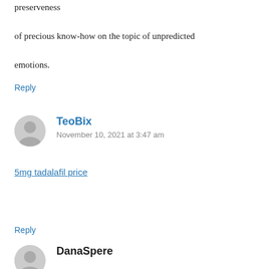preserveness

of precious know-how on the topic of unpredicted emotions.
Reply
TeoBix
November 10, 2021 at 3:47 am
5mg tadalafil price
Reply
DanaSpere